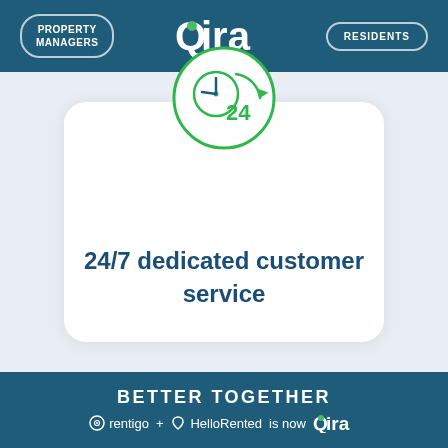PROPERTY MANAGERS | Qira | RESIDENTS
[Figure (illustration): Green circular clock icon with '24' text and circular arrow, representing 24/7 service]
24/7 dedicated customer service
BETTER TOGETHER
rentigo + HelloRented is now Qira